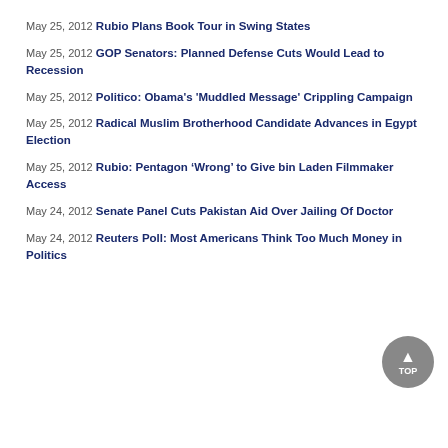May 25, 2012 Rubio Plans Book Tour in Swing States
May 25, 2012 GOP Senators: Planned Defense Cuts Would Lead to Recession
May 25, 2012 Politico: Obama's 'Muddled Message' Crippling Campaign
May 25, 2012 Radical Muslim Brotherhood Candidate Advances in Egypt Election
May 25, 2012 Rubio: Pentagon ‘Wrong’ to Give bin Laden Filmmaker Access
May 24, 2012 Senate Panel Cuts Pakistan Aid Over Jailing Of Doctor
May 24, 2012 Reuters Poll: Most Americans Think Too Much Money in Politics